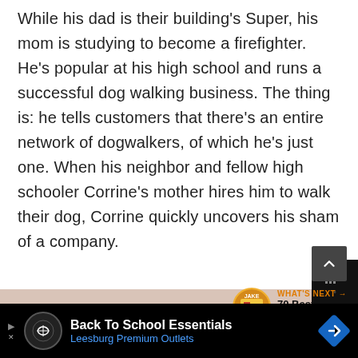While his dad is their building's Super, his mom is studying to become a firefighter. He's popular at his high school and runs a successful dog walking business. The thing is: he tells customers that there's an entire network of dogwalkers, of which he's just one. When his neighbor and fellow high schooler Corrine's mother hires him to walk their dog, Corrine quickly uncovers his sham of a company.
[Figure (screenshot): Dark grey scroll-to-top button with upward chevron arrow]
[Figure (screenshot): What's Next panel showing book thumbnail with text '70 Best Chapter...']
[Figure (screenshot): Advertisement banner: Back To School Essentials - Leesburg Premium Outlets]
[Figure (screenshot): Dark navigation area on right side with antenna/meter icon]